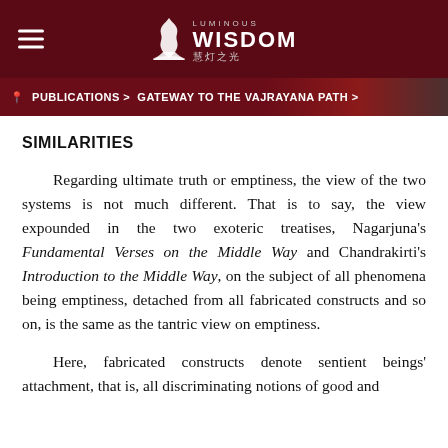LUMINOUS WISDOM 慧灯之光
PUBLICATIONS > GATEWAY TO THE VAJRAYANA PATH >
SIMILARITIES
Regarding ultimate truth or emptiness, the view of the two systems is not much different. That is to say, the view expounded in the two exoteric treatises, Nagarjuna's Fundamental Verses on the Middle Way and Chandrakirti's Introduction to the Middle Way, on the subject of all phenomena being emptiness, detached from all fabricated constructs and so on, is the same as the tantric view on emptiness.
Here, fabricated constructs denote sentient beings' attachment, that is, all discriminating notions of good and